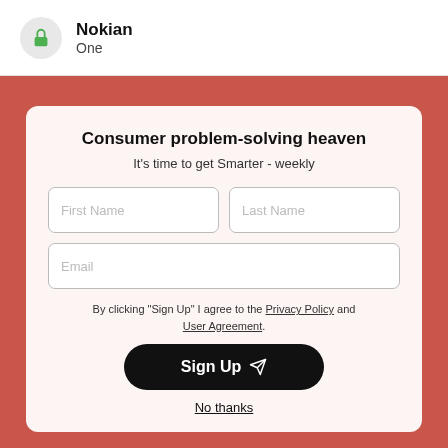Nokian One
Consumer problem-solving heaven
It's time to get Smarter - weekly
First Name
Last Name
Email
By clicking "Sign Up" I agree to the Privacy Policy and User Agreement.
Sign Up
No thanks